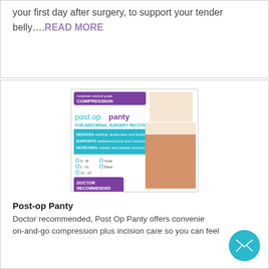your first day after surgery, to support your tender belly....READ MORE
[Figure (photo): Post Op Panty product packaging image showing compression garment for abdominal surgery recovery. Purple and teal packaging with text: moderate medical grade COMPRESSION, post op panty, FOR ABDOMINAL SURGERY RECOVERY, REDUCES swelling tenderness and bloating, SUPPORTS weakened tissue and muscles, INCREASES mobility and speeds recovery, DOCTOR RECOMMENDED and designed for hysterectomy. Sizes: S-M, L-XL, 1X-2X in Nude and Black.]
Post-op Panty
Doctor recommended, Post Op Panty offers convenient on-and-go compression plus incision care so you can feel